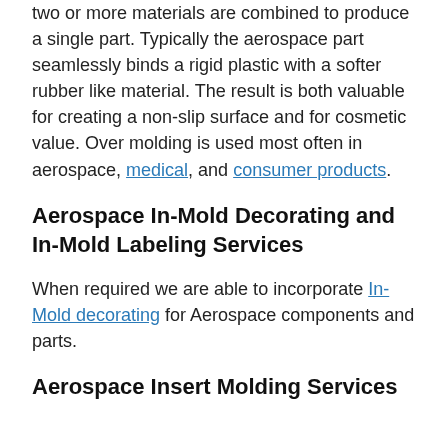two or more materials are combined to produce a single part. Typically the aerospace part seamlessly binds a rigid plastic with a softer rubber like material. The result is both valuable for creating a non-slip surface and for cosmetic value. Over molding is used most often in aerospace, medical, and consumer products.
Aerospace In-Mold Decorating and In-Mold Labeling Services
When required we are able to incorporate In-Mold decorating for Aerospace components and parts.
Aerospace Insert Molding Services